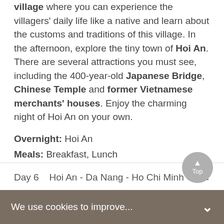village where you can experience the villagers' daily life like a native and learn about the customs and traditions of this village. In the afternoon, explore the tiny town of Hoi An. There are several attractions you must see, including the 400-year-old Japanese Bridge, Chinese Temple and former Vietnamese merchants' houses. Enjoy the charming night of Hoi An on your own.
Overnight: Hoi An
Meals: Breakfast, Lunch
Day 6    Hoi An - Da Nang - Ho Chi Minh City
After breakfast, your guide will escort you to the airport in Da Nang for your flight to Ho Chi Minh City. Upon arrival, check in to the hotel and the rest of the day is free for you to have a rest or go out for exploration.
Overnight: Ho Chi Minh City
We use cookies to improve...